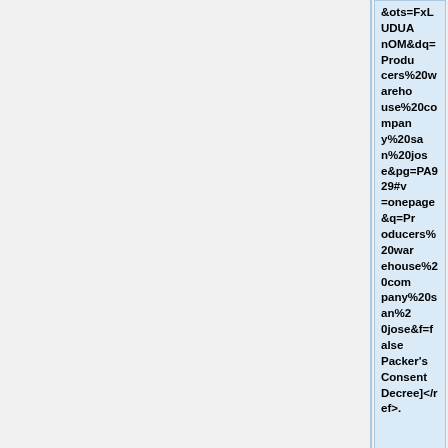&ots=FxLUDUAnOM&dq=Producers%20warehouse%20company%20san%20jose&pg=PA929#v=onepage&q=Producers%20warehouse%20company%20san%20jose&f=false Packer's Consent Decree]</ref>.
+
Phoenix Packing was merged into [[Guggenhime and Company]] by 1920<ref>[http://...